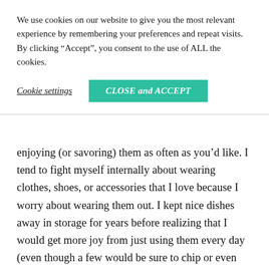We use cookies on our website to give you the most relevant experience by remembering your preferences and repeat visits. By clicking “Accept”, you consent to the use of ALL the cookies.
Cookie settings
CLOSE and ACCEPT
enjoying (or savoring) them as often as you’d like. I tend to fight myself internally about wearing clothes, shoes, or accessories that I love because I worry about wearing them out. I kept nice dishes away in storage for years before realizing that I would get more joy from just using them every day (even though a few would be sure to chip or even break). Sometimes, I even tend to save fun trips for the “perfect” day, which means that I have